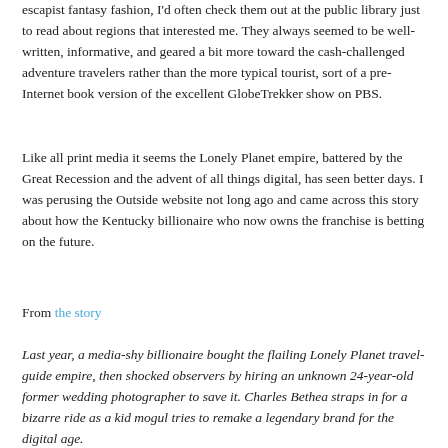escapist fantasy fashion, I'd often check them out at the public library just to read about regions that interested me. They always seemed to be well-written, informative, and geared a bit more toward the cash-challenged adventure travelers rather than the more typical tourist, sort of a pre-Internet book version of the excellent GlobeTrekker show on PBS.
Like all print media it seems the Lonely Planet empire, battered by the Great Recession and the advent of all things digital, has seen better days. I was perusing the Outside website not long ago and came across this story about how the Kentucky billionaire who now owns the franchise is betting on the future.
From the story
Last year, a media-shy billionaire bought the flailing Lonely Planet travel-guide empire, then shocked observers by hiring an unknown 24-year-old former wedding photographer to save it. Charles Bethea straps in for a bizarre ride as a kid mogul tries to remake a legendary brand for the digital age.